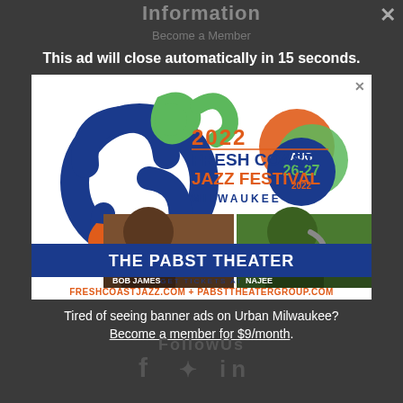Information
Become a Member
This ad will close automatically in 15 seconds.
[Figure (illustration): 2022 Fresh Coast Jazz Festival Milwaukee advertisement featuring musicians Bob James and Najee, The Pabst Theater, August 26-27 2022, Get tickets at freshcoastjazz.com + pabsttheatergroup.com]
Tired of seeing banner ads on Urban Milwaukee? Become a member for $9/month.
FollowUs
[Figure (illustration): Social media icons: Facebook, Twitter, LinkedIn]